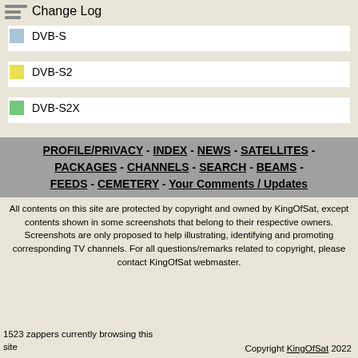Change Log
DVB-S
DVB-S2
DVB-S2X
PROFILE/PRIVACY - INDEX - NEWS - SATELLITES - PACKAGES - CHANNELS - SEARCH - BEAMS - FEEDS - CEMETERY - Your Comments / Updates
All contents on this site are protected by copyright and owned by KingOfSat, except contents shown in some screenshots that belong to their respective owners. Screenshots are only proposed to help illustrating, identifying and promoting corresponding TV channels. For all questions/remarks related to copyright, please contact KingOfSat webmaster.
1523 zappers currently browsing this site
Copyright KingOfSat 2022